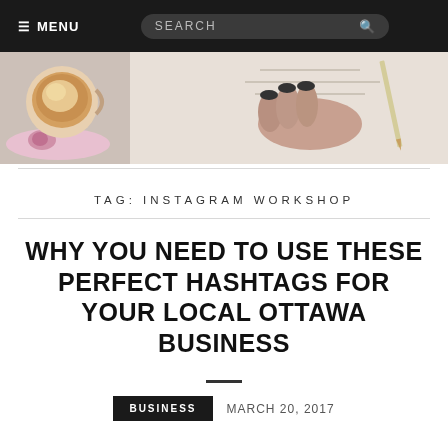≡ MENU   SEARCH
[Figure (photo): Photo showing a floral teacup with coffee/latte and a hand with dark nail polish resting on a notebook with a pencil nearby]
TAG: INSTAGRAM WORKSHOP
WHY YOU NEED TO USE THESE PERFECT HASHTAGS FOR YOUR LOCAL OTTAWA BUSINESS
BUSINESS   MARCH 20, 2017